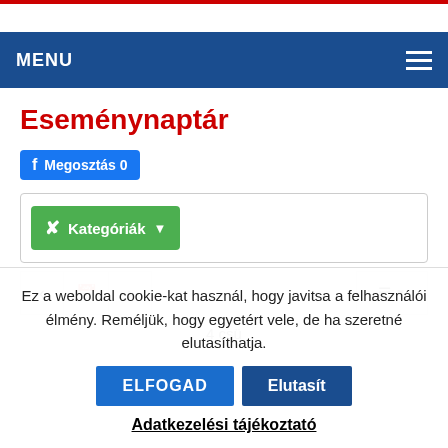[Figure (screenshot): Top red stripe navigation bar (partially visible)]
MENU
Eseménynaptár
[Figure (screenshot): Facebook Megosztás 0 button]
[Figure (screenshot): Kategóriák dropdown filter button inside white bordered box]
[Figure (screenshot): Navigation row with back, calendar, forward buttons and list-view dropdown]
4 csü
Ez a weboldal cookie-kat használ, hogy javitsa a felhasználói élmény. Reméljük, hogy egyetért vele, de ha szeretné elutasíthatja.
ELFOGAD
Elutasít
Adatkezelési tájékoztató